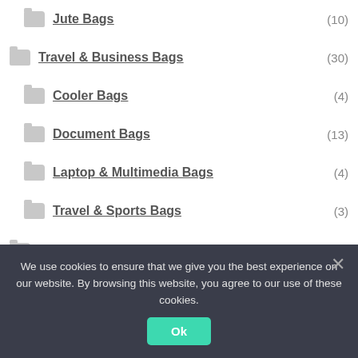Jute Bags (10)
Travel & Business Bags (30)
Cooler Bags (4)
Document Bags (13)
Laptop & Multimedia Bags (4)
Travel & Sports Bags (3)
Best Sellers (6)
Clothing & Workwear (122)
Accessories (16)
Hats & Caps (18)
We use cookies to ensure that we give you the best experience on our website. By browsing this website, you agree to our use of these cookies.